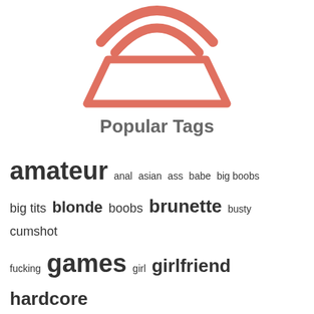[Figure (logo): Stylized logo icon in salmon/coral color showing a curved/arc shape with layered rings above a trapezoid/handbag shape, partially cropped at top]
Popular Tags
amateur anal asian ass babe big boobs big tits blonde boobs brunette busty cumshot fucking games girl girlfriend hardcore hd videos homemade hot lingerie masturbation mature milf naked nude pictures porn pornstar pussy selfie selfshot sex sexy shaved softcore solo stolen private pics straight teen